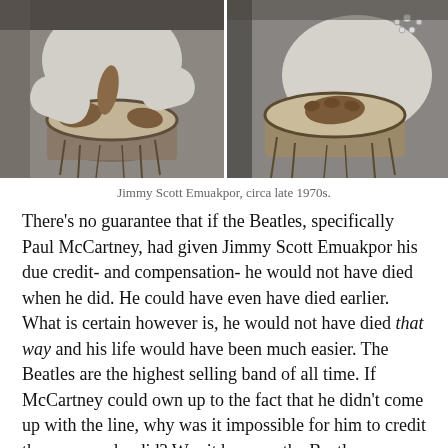[Figure (photo): Two black-and-white side-by-side photographs of Jimmy Scott Emuakpor playing drums (conga/djembe style drums), circa late 1970s. Left photo shows close-up of hands on drum head from above; right photo shows player with drum from a slightly different angle.]
Jimmy Scott Emuakpor, circa late 1970s.
There’s no guarantee that if the Beatles, specifically Paul McCartney, had given Jimmy Scott Emuakpor his due credit- and compensation- he would not have died when he did. He could have even have died earlier. What is certain however is, he would not have died that way and his life would have been much easier. The Beatles are the highest selling band of all time. If McCartney could own up to the fact that he didn’t come up with the line, why was it impossible for him to credit the person who did? Was it because the Beatles